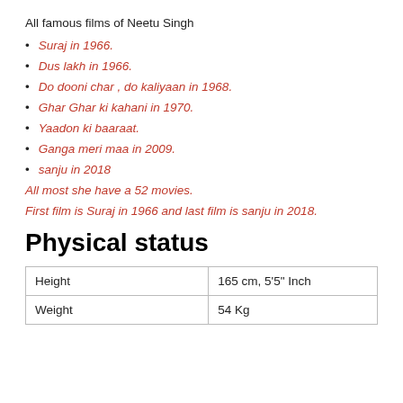All famous films of Neetu Singh
Suraj in 1966.
Dus lakh in 1966.
Do dooni char , do kaliyaan in 1968.
Ghar Ghar ki kahani in 1970.
Yaadon ki baaraat.
Ganga meri maa in 2009.
sanju in 2018
All most she have a 52 movies.
First film is Suraj in 1966 and last film is sanju in 2018.
Physical status
|  |  |
| --- | --- |
| Height | 165 cm, 5'5" Inch |
| Weight | 54 Kg |